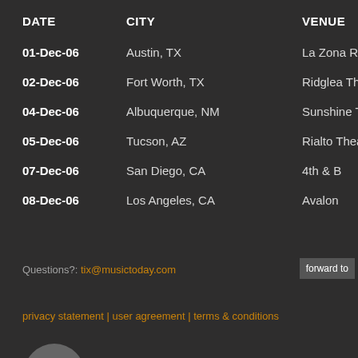| DATE | CITY | VENUE | PR... |
| --- | --- | --- | --- |
| 01-Dec-06 | Austin, TX | La Zona Rosa | On... |
| 02-Dec-06 | Fort Worth, TX | Ridglea Theater | On... |
| 04-Dec-06 | Albuquerque, NM | Sunshine Theatre | Co... |
| 05-Dec-06 | Tucson, AZ | Rialto Theatre | On... |
| 07-Dec-06 | San Diego, CA | 4th & B | On... |
| 08-Dec-06 | Los Angeles, CA | Avalon | On... |
Questions?: tix@musictoday.com
forward to...
privacy statement | user agreement | terms & conditions